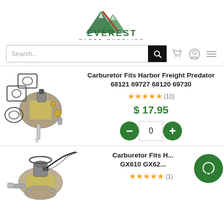[Figure (logo): Everest Parts Supplies logo with mountain graphic in green and brown, text EVEREST PARTS SUPPLIES below]
Search...
[Figure (photo): Carburetor kit with gaskets and fuel petcock for Harbor Freight Predator engines]
Carburetor Fits Harbor Freight Predator 68121 69727 68120 69730
★★★★★ (10)
$ 17.95
0
[Figure (photo): Carburetor for Honda GX610 GX620 engines]
Carburetor Fits H... GX610 GX62...
★★★★★ (1)